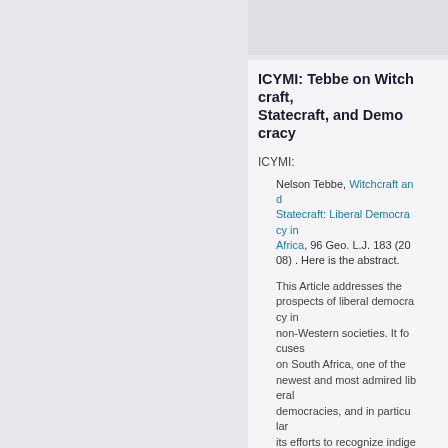ICYMI: Tebbe on Witchcraft, Statecraft, and Democracy
ICYMI:
Nelson Tebbe, Witchcraft and Statecraft: Liberal Democracy in Africa, 96 Geo. L.J. 183 (2008) . Here is the abstract.
This Article addresses the prospects of liberal democracy in non-Western societies. It focuses on South Africa, one of the newest and most admired liberal democracies, and in particular its efforts to recognize indigenous African traditions surrounding witchcraft and related occult practices. In 2004, Parliament passed a law that purports to regulate certain occult practitioners called traditional healers. Today, lawmakers are under pressure to go further and criminalize the practice of witchcraft itself. This Article